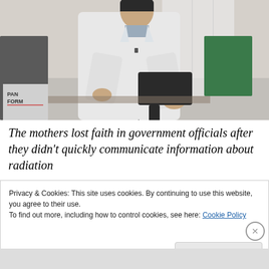[Figure (photo): A woman in a white lab coat holding a black handheld radiation measurement device in a laboratory setting with equipment and storage containers in the background.]
The mothers lost faith in government officials after they didn't quickly communicate information about radiation
Privacy & Cookies: This site uses cookies. By continuing to use this website, you agree to their use.
To find out more, including how to control cookies, see here: Cookie Policy